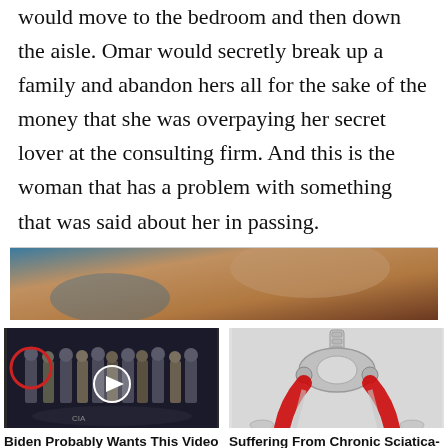would move to the bedroom and then down the aisle. Omar would secretly break up a family and abandon hers all for the sake of the money that she was overpaying her secret lover at the consulting firm. And this is the woman that has a problem with something that was said about her in passing.
[Figure (photo): Advertisement banner image with a close-up photo of skin, with a 'Promoted X' badge overlay]
[Figure (photo): Ad card image left: Group of men in suits at CIA headquarters with a red circle and video play button overlay]
Biden Probably Wants This Video Destroyed — US Dollar On Path Towards Replacement?
471,268
[Figure (illustration): Ad card image right: Medical illustration of human pelvis and legs with red highlighted muscles indicating sciatica]
Suffering From Chronic Sciatica-Pain? Here's A Secret You Need To Know
3,500